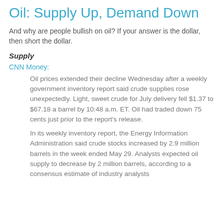Oil: Supply Up, Demand Down
And why are people bullish on oil? If your answer is the dollar, then short the dollar.
Supply
CNN Money:
Oil prices extended their decline Wednesday after a weekly government inventory report said crude supplies rose unexpectedly. Light, sweet crude for July delivery fell $1.37 to $67.18 a barrel by 10:48 a.m. ET. Oil had traded down 75 cents just prior to the report's release.
In its weekly inventory report, the Energy Information Administration said crude stocks increased by 2.9 million barrels in the week ended May 29. Analysts expected oil supply to decrease by 2 million barrels, according to a consensus estimate of industry analysts